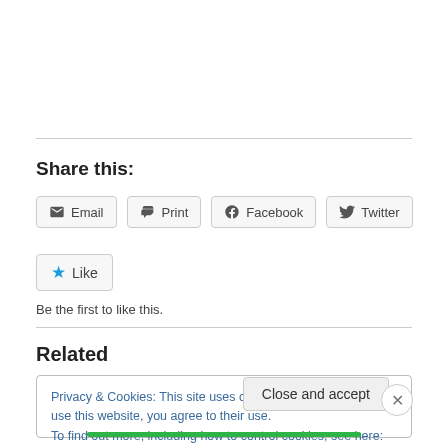Share this:
Email  Print  Facebook  Twitter
★ Like
Be the first to like this.
Related
Privacy & Cookies: This site uses cookies. By continuing to use this website, you agree to their use.
To find out more, including how to control cookies, see here: Cookie Policy
Close and accept